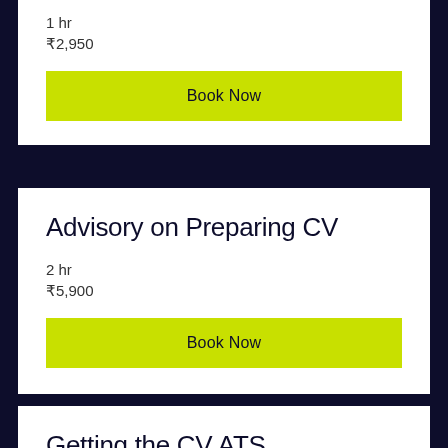1 hr
₹2,950
Book Now
Advisory on Preparing CV
2 hr
₹5,900
Book Now
Getting the CV ATS